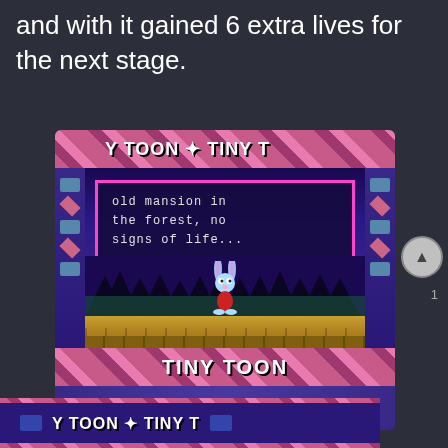and with it gained 6 extra lives for the next stage.
[Figure (screenshot): Screenshot of Tiny Toon Adventures game showing a dialog box with text 'old mansion in the forest, no signs of life...' with the main character (Buster Bunny) standing on a golden ground with forest silhouette background. The game screen is framed with a pink/purple diamond pattern border reading 'TINY TOON' at top and bottom.]
[Figure (screenshot): Partial screenshot of Tiny Toon Adventures game at the bottom of the page, showing the same diamond pattern border with 'TINY TOON' text.]